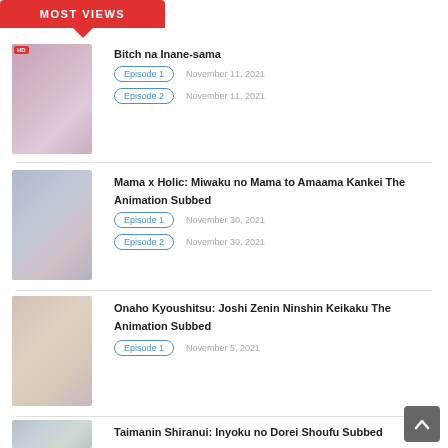MOST VIEWS
Bitch na Inane-sama
Episode 1 — November 11, 2021
Episode 2 — November 11, 2021
Mama x Holic: Miwaku no Mama to Amaama Kankei The Animation Subbed
Episode 1 — November 30, 2021
Episode 2 — November 30, 2021
Onaho Kyoushitsu: Joshi Zenin Ninshin Keikaku The Animation Subbed
Episode 1 — November 5, 2021
Taimanin Shiranui: Inyoku no Dorei Shoufu Subbed